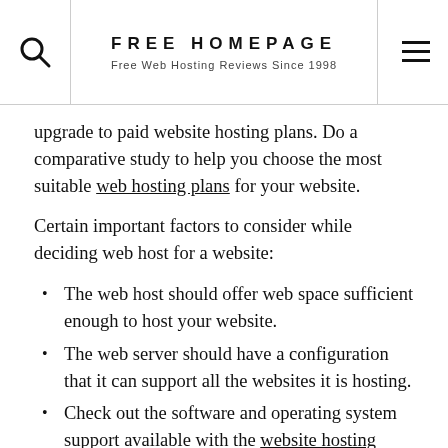FREE HOMEPAGE
Free Web Hosting Reviews Since 1998
upgrade to paid website hosting plans. Do a comparative study to help you choose the most suitable web hosting plans for your website.
Certain important factors to consider while deciding web host for a website:
The web host should offer web space sufficient enough to host your website.
The web server should have a configuration that it can support all the websites it is hosting.
Check out the software and operating system support available with the website hosting packages
Check if backup facility in case of disk failure is